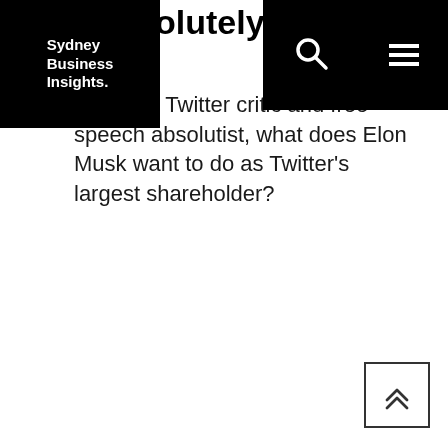Sydney Business Insights
olutely anything)
ehement Twitter critic and free speech absolutist, what does Elon Musk want to do as Twitter's largest shareholder?